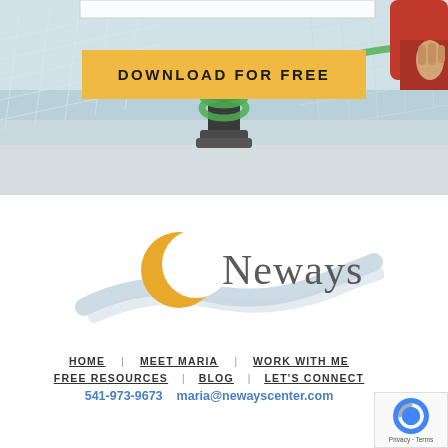[Figure (photo): Sailing boat deck with a rope/line wrapped around a cleat or winch, with a safety net visible in the background. A person's hand (in red jacket) holds a green rope/line. Ocean visible in background.]
DOWNLOAD FOR FREE
[Figure (logo): Neways logo: a golden crescent moon shape on the left with blue wave swoosh beneath, and the word 'Neways' in gray text to the right.]
HOME
MEET MARIA
WORK WITH ME
FREE RESOURCES
BLOG
LET'S CONNECT
541-973-9673   maria@newayscenter.com